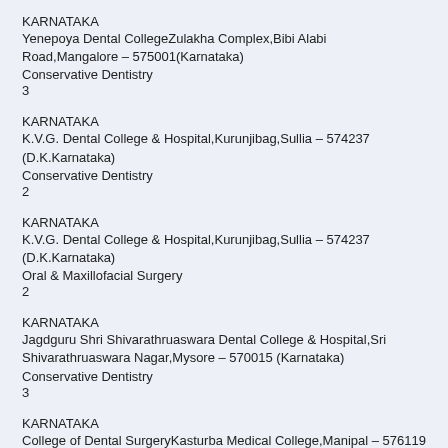KARNATAKA
Yenepoya Dental CollegeZulakha Complex,Bibi Alabi Road,Mangalore – 575001(Karnataka)
Conservative Dentistry
3
KARNATAKA
K.V.G. Dental College & Hospital,Kurunjibag,Sullia – 574237 (D.K.Karnataka)
Conservative Dentistry
2
KARNATAKA
K.V.G. Dental College & Hospital,Kurunjibag,Sullia – 574237 (D.K.Karnataka)
Oral & Maxillofacial Surgery
2
KARNATAKA
Jagdguru Shri Shivarathruaswara Dental College & Hospital,Sri Shivarathruaswara Nagar,Mysore – 570015 (Karnataka)
Conservative Dentistry
3
KARNATAKA
College of Dental SurgeryKasturba Medical College,Manipal – 576119 (Karnataka)
Prosthodontics
4